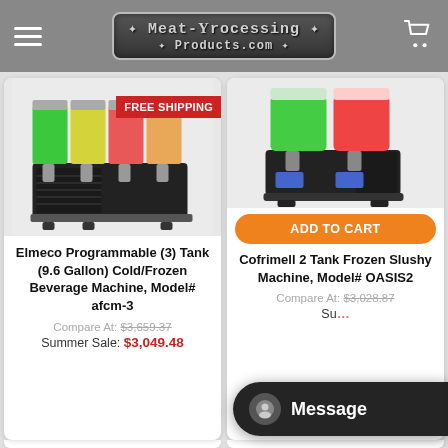Meat-Processing Products.com
[Figure (photo): Elmeco Programmable 3-tank cold/frozen beverage machine with green, yellow, and red slush in tanks, with FREE SHIPPING badge]
Elmeco Programmable (3) Tank (9.6 Gallon) Cold/Frozen Beverage Machine, Model# afcm-3
Compare At: $3,659.37
Summer Sale: $3,049.48
[Figure (photo): Cofrimell 2 Tank Frozen Slushy Machine with green and red slush in two tanks]
ADD TO CART
Cofrimell 2 Tank Frozen Slushy Machine, Model# OASIS2
Compare At: $3,028.87
Summer Sale: (price obscured by message bar)
Message